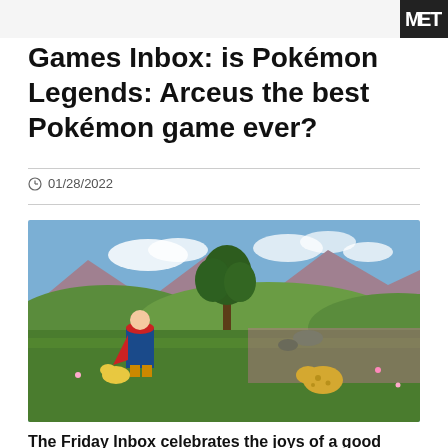[Figure (screenshot): Top portion of a website header showing partial logo/branding image cut off at top]
Games Inbox: is Pokémon Legends: Arceus the best Pokémon game ever?
01/28/2022
[Figure (screenshot): Screenshot from Pokémon Legends: Arceus game showing a player character crouching in a green field with a yellow Pokémon, trees, mountains and pink flowers in the background]
The Friday Inbox celebrates the joys of a good